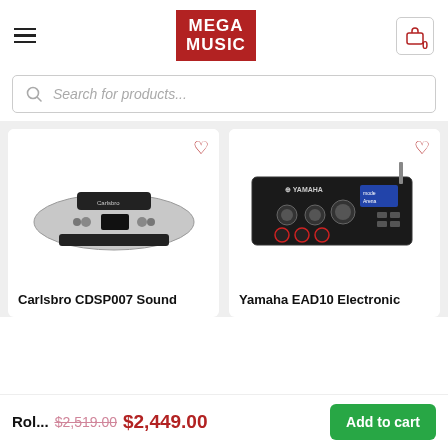Mega Music
Search for products...
[Figure (photo): Carlsbro CDSP007 Sound product image - silver/black audio device]
Carlsbro CDSP007 Sound
[Figure (photo): Yamaha EAD10 Electronic drum module - black device with knobs and display]
Yamaha EAD10 Electronic
Rol...  $2,519.00  $2,449.00  Add to cart